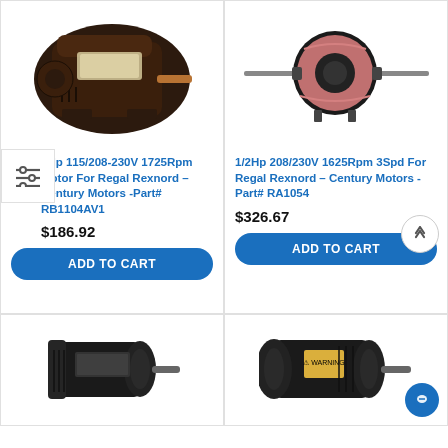[Figure (photo): Electric motor product image - 1Hp 115/208-230V 1725Rpm Motor, dark brown/black casing with copper shaft]
[Figure (photo): Electric motor product image - 1/2Hp 208/230V 1625Rpm 3Spd motor, cylindrical black motor with long dual shafts]
1Hp 115/208-230V 1725Rpm Motor For Regal Rexnord - Century Motors -Part# RB1104AV1
1/2Hp 208/230V 1625Rpm 3Spd For Regal Rexnord - Century Motors -Part# RA1054
$186.92
$326.67
ADD TO CART
ADD TO CART
[Figure (photo): Electric motor product image bottom-left, small black motor]
[Figure (photo): Electric motor product image bottom-right, black motor with warning label]